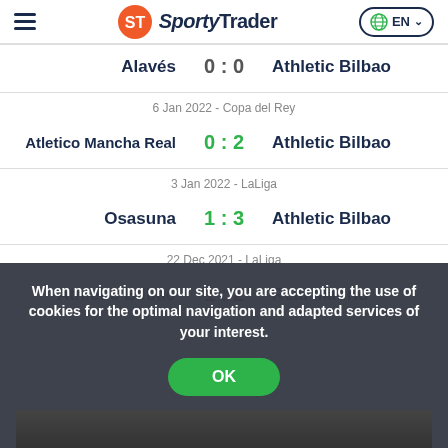SportyTrader — EN
| Home | Score | Away |
| --- | --- | --- |
| Alavés | 0 : 0 | Athletic Bilbao |
| 6 Jan 2022 - Copa del Rey |  |  |
| Atletico Mancha Real | 0 : 2 | Athletic Bilbao |
| 3 Jan 2022 - LaLiga |  |  |
| Osasuna | 1 : 3 | Athletic Bilbao |
| 22 Dec 2021 - LaLiga |  |  |
| Athletic Bilbao | 1 : 2 | Real Madrid |
When navigating on our site, you are accepting the use of cookies for the optimal navigation and adapted services of your interest.